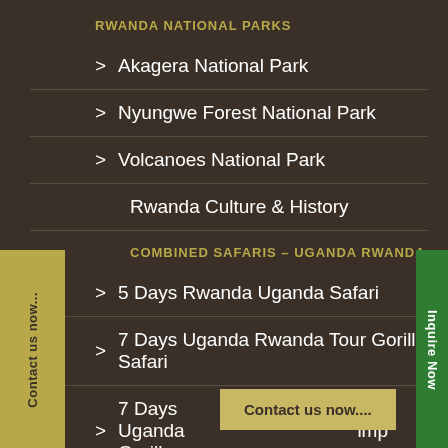RWANDA NATIONAL PARKS
> Akagera National Park
> Nyungwe Forest National Park
> Volcanoes National Park
Rwanda Culture & History
COMBINED SAFARIS – UGANDA RWANDA
> 5 Days Rwanda Uganda Safari
> 7 Days Uganda Rwanda Tour Gorilla Safari
> 7 Days Uganda Gorill... imp
Contact us now...
Inquire Now
Contact us now....